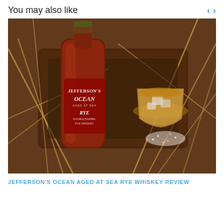You may also like
[Figure (photo): Jefferson's Ocean Aged at Sea Rye Whiskey bottle lying on a wooden tray surrounded by wheat stalks, with a glass of whiskey on ice and scattered salt nearby.]
JEFFERSON'S OCEAN AGED AT SEA RYE WHISKEY REVIEW